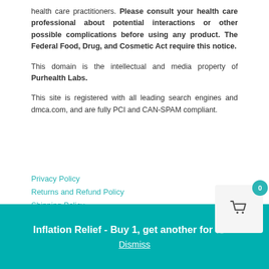health care practitioners. Please consult your health care professional about potential interactions or other possible complications before using any product. The Federal Food, Drug, and Cosmetic Act require this notice.
This domain is the intellectual and media property of Purhealth Labs.
This site is registered with all leading search engines and dmca.com, and are fully PCI and CAN-SPAM compliant.
Privacy Policy
Returns and Refund Policy
Shipping Policy
Terms of Use
Inflation Relief - Buy 1, get another for ½ F! Dismiss